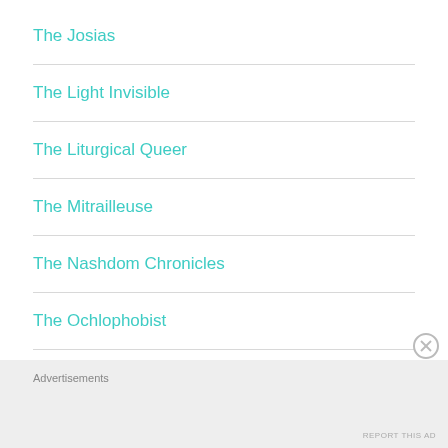The Josias
The Light Invisible
The Liturgical Queer
The Mitrailleuse
The Nashdom Chronicles
The Ochlophobist
The Oddest Inkling
Advertisements